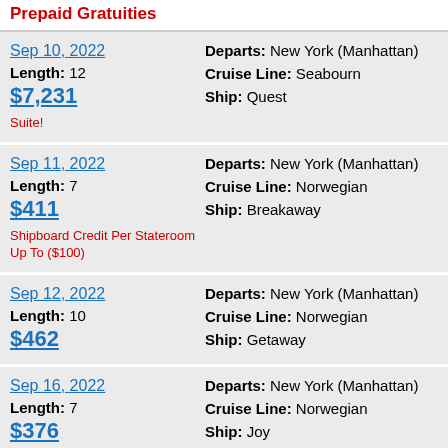Prepaid Gratuities
Sep 10, 2022 | Length: 12 | $7,231 | Suite! | Departs: New York (Manhattan) | Cruise Line: Seabourn | Ship: Quest
Sep 11, 2022 | Length: 7 | $411 | Shipboard Credit Per Stateroom Up To ($100) | Departs: New York (Manhattan) | Cruise Line: Norwegian | Ship: Breakaway
Sep 12, 2022 | Length: 10 | $462 | Departs: New York (Manhattan) | Cruise Line: Norwegian | Ship: Getaway
Sep 16, 2022 | Length: 7 | $376 | Departs: New York (Manhattan) | Cruise Line: Norwegian | Ship: Joy | Shipboard Credit Per Stateroom Up To ($100)